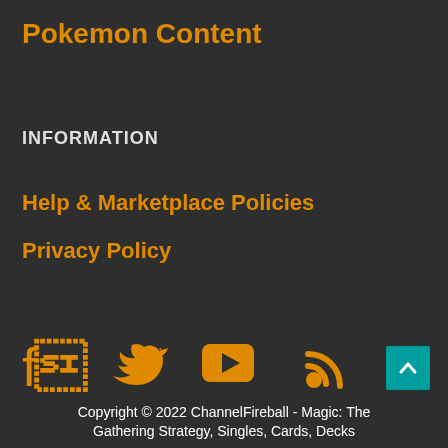Pokemon Content
INFORMATION
Help & Marketplace Policies
Privacy Policy
[Figure (infographic): Social media icons: Facebook, Twitter, YouTube, RSS feed — all in orange]
[Figure (other): Back to top button (teal square with upward chevron arrow)]
Copyright © 2022 ChannelFireball - Magic: The Gathering Strategy, Singles, Cards, Decks